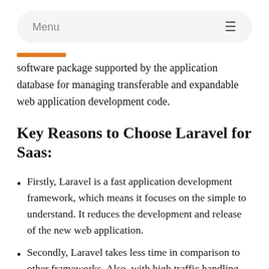Menu
software package supported by the application database for managing transferable and expandable web application development code.
Key Reasons to Choose Laravel for Saas:
Firstly, Laravel is a fast application development framework, which means it focuses on the simple to understand. It reduces the development and release of the new web application.
Secondly, Laravel takes less time in comparison to other frameworks. Also, with high traffic handling